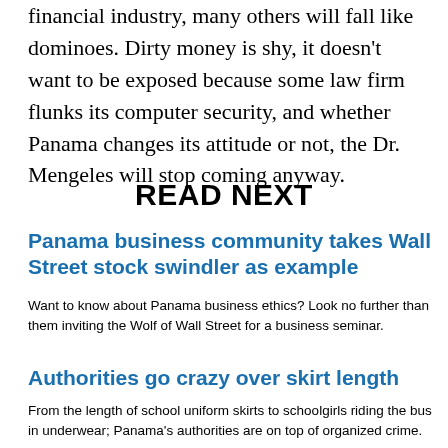financial industry, many others will fall like dominoes. Dirty money is shy, it doesn't want to be exposed because some law firm flunks its computer security, and whether Panama changes its attitude or not, the Dr. Mengeles will stop coming anyway.
READ NEXT
Panama business community takes Wall Street stock swindler as example
Want to know about Panama business ethics? Look no further than them inviting the Wolf of Wall Street for a business seminar.
Authorities go crazy over skirt length
From the length of school uniform skirts to schoolgirls riding the bus in underwear; Panama's authorities are on top of organized crime.